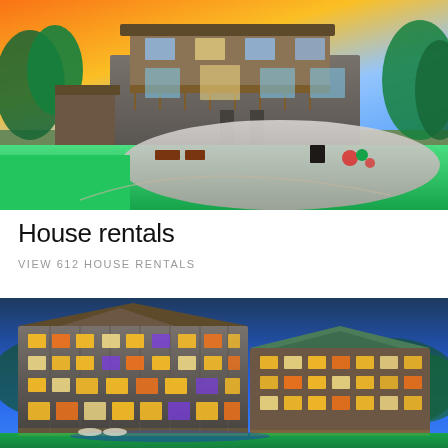[Figure (photo): Exterior photo of a large multi-level house with decks and balconies at sunset, with green lawn, stone patio, and surrounding trees and gardens.]
House rentals
VIEW 612 HOUSE RENTALS
[Figure (photo): Night/dusk photo of a large multi-story lodge-style apartment or hotel building with warm lights glowing from windows, surrounded by green lawn and trees against a blue evening sky.]